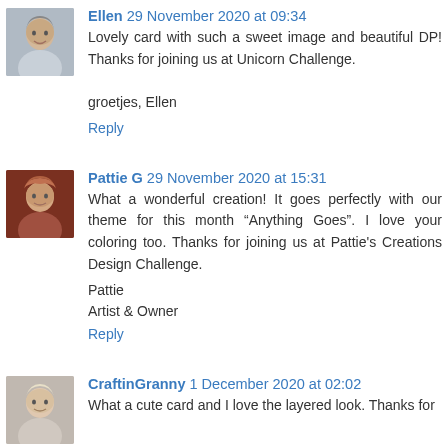[Figure (photo): Avatar photo of Ellen, older woman smiling]
Ellen 29 November 2020 at 09:34
Lovely card with such a sweet image and beautiful DP! Thanks for joining us at Unicorn Challenge.

groetjes, Ellen
Reply
[Figure (photo): Avatar photo of Pattie G, woman with curly red hair]
Pattie G 29 November 2020 at 15:31
What a wonderful creation! It goes perfectly with our theme for this month "Anything Goes". I love your coloring too. Thanks for joining us at Pattie's Creations Design Challenge.
Pattie
Artist & Owner
Reply
[Figure (photo): Avatar photo of CraftinGranny, blond woman]
CraftinGranny 1 December 2020 at 02:02
What a cute card and I love the layered look. Thanks for